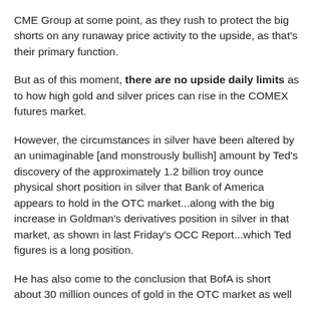CME Group at some point, as they rush to protect the big shorts on any runaway price activity to the upside, as that's their primary function.
But as of this moment, there are no upside daily limits as to how high gold and silver prices can rise in the COMEX futures market.
However, the circumstances in silver have been altered by an unimaginable [and monstrously bullish] amount by Ted's discovery of the approximately 1.2 billion troy ounce physical short position in silver that Bank of America appears to hold in the OTC market...along with the big increase in Goldman's derivatives position in silver in that market, as shown in last Friday's OCC Report...which Ted figures is a long position.
He has also come to the conclusion that BofA is short about 30 million ounces of gold in the OTC market as well